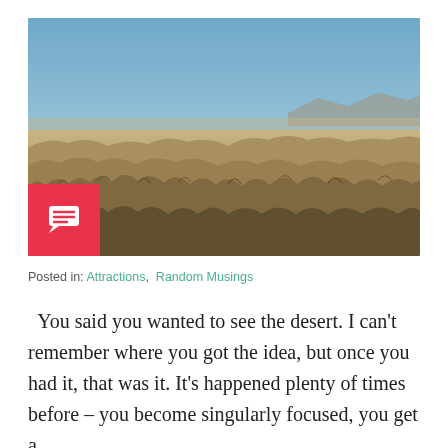[Figure (photo): Aerial panoramic view of a desert badlands landscape with rugged eroded ridges in the foreground, flat desert floor in the middle distance, and a pale blue sky. A small red comment icon box is overlaid in the bottom-left corner of the photo.]
Posted in: Attractions,  Random Musings
You said you wanted to see the desert. I can't remember where you got the idea, but once you had it, that was it. It's happened plenty of times before – you become singularly focused, you get a